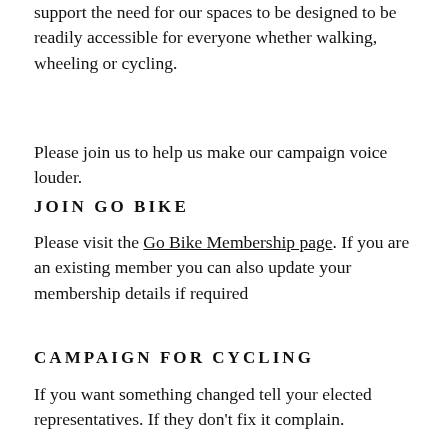support the need for our spaces to be designed to be readily accessible for everyone whether walking, wheeling or cycling.
Please join us to help us make our campaign voice louder.
JOIN GO BIKE
Please visit the Go Bike Membership page. If you are an existing member you can also update your membership details if required
CAMPAIGN FOR CYCLING
If you want something changed tell your elected representatives. If they don't fix it complain.